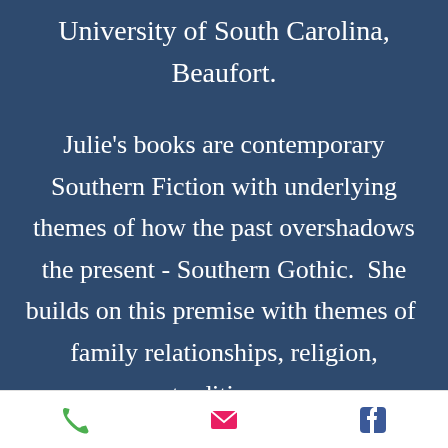University of South Carolina, Beaufort.
Julie's books are contemporary Southern Fiction with underlying themes of how the past overshadows the present - Southern Gothic.  She builds on this premise with themes of  family relationships, religion, traditions,
[Figure (infographic): Footer bar with three icons: green phone icon, pink/red email envelope icon, and blue Facebook icon]